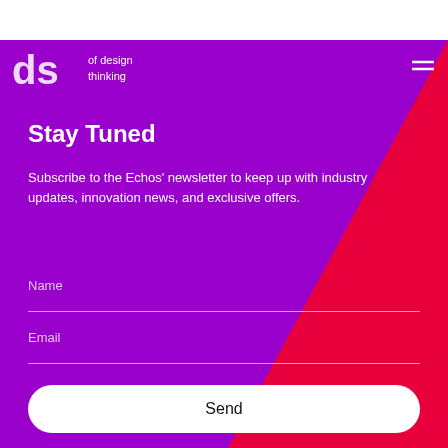[Figure (logo): Partial logo with letters 'ds' and text 'of design thinking' on purple background, with hamburger menu icon top right]
Stay Tuned
Subscribe to the Echos' newsletter to keep up with industry updates, innovation news, and exclusive offers.
Name
Email
Send